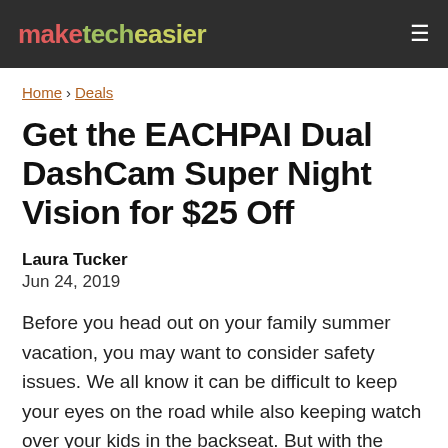maketecheasier
Home > Deals
Get the EACHPAI Dual DashCam Super Night Vision for $25 Off
Laura Tucker
Jun 24, 2019
Before you head out on your family summer vacation, you may want to consider safety issues. We all know it can be difficult to keep your eyes on the road while also keeping watch over your kids in the backseat. But with the